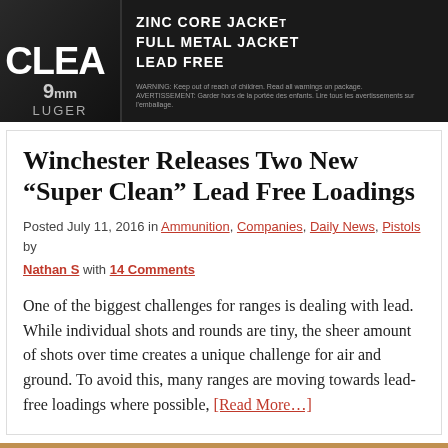[Figure (photo): Winchester Super Clean ammunition box in black, showing 9mm Luger, Zinc Core, Full Metal Jacket, Lead Free text on a dark background]
Winchester Releases Two New “Super Clean” Lead Free Loadings
Posted July 11, 2016 in Ammunition, Companies, Daily News, Pistols by Nathan S with 14 Comments
One of the biggest challenges for ranges is dealing with lead. While individual shots and rounds are tiny, the sheer amount of shots over time creates a unique challenge for air and ground. To avoid this, many ranges are moving towards lead-free loadings where possible, [Read More...]
[Figure (photo): Rows of copper-tipped bullets standing upright, with an ICONIC by Rise Armament banner overlay at the bottom showing trigger products, and a reCAPTCHA widget in the corner]